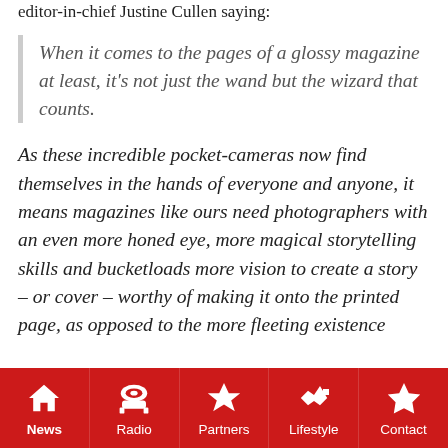editor-in-chief Justine Cullen saying:
When it comes to the pages of a glossy magazine at least, it's not just the wand but the wizard that counts.
As these incredible pocket-cameras now find themselves in the hands of everyone and anyone, it means magazines like ours need photographers with an even more honed eye, more magical storytelling skills and bucketloads more vision to create a story – or cover – worthy of making it onto the printed page, as opposed to the more fleeting existence
News | Radio | Partners | Lifestyle | Contact